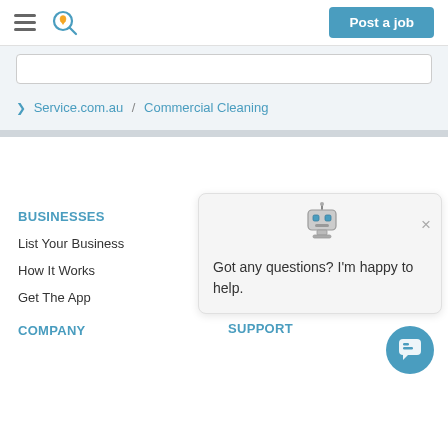Post a job
Service.com.au / Commercial Cleaning
BUSINESSES
List Your Business
How It Works
Get The App
CUSTOMERS
COMPANY
SUPPORT
Got any questions? I'm happy to help.